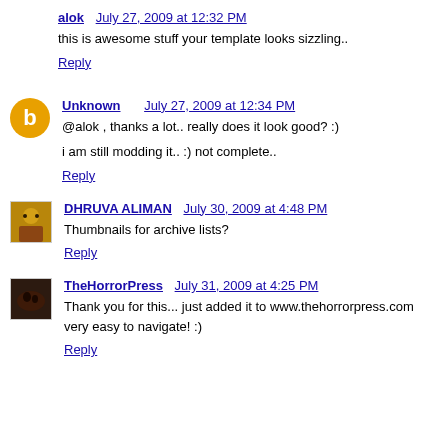alok  July 27, 2009 at 12:32 PM
this is awesome stuff your template looks sizzling..
Reply
Unknown  July 27, 2009 at 12:34 PM
@alok , thanks a lot.. really does it look good? :)
i am still modding it.. :) not complete..
Reply
DHRUVA ALIMAN  July 30, 2009 at 4:48 PM
Thumbnails for archive lists?
Reply
TheHorrorPress  July 31, 2009 at 4:25 PM
Thank you for this... just added it to www.thehorrorpress.com very easy to navigate! :)
Reply